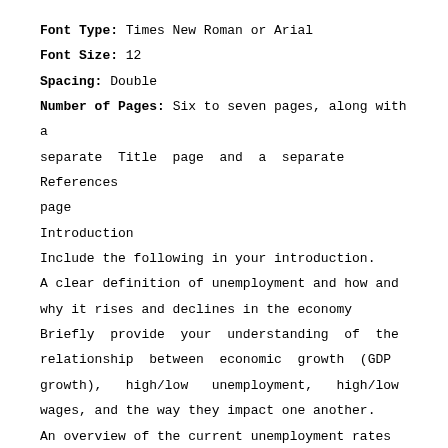Font Type: Times New Roman or Arial
Font Size: 12
Spacing: Double
Number of Pages: Six to seven pages, along with a separate Title page and a separate References page
Introduction
Include the following in your introduction.
A clear definition of unemployment and how and why it rises and declines in the economy
Briefly provide your understanding of the relationship between economic growth (GDP growth), high/low unemployment, high/low wages, and the way they impact one another.
An overview of the current unemployment rates in the...